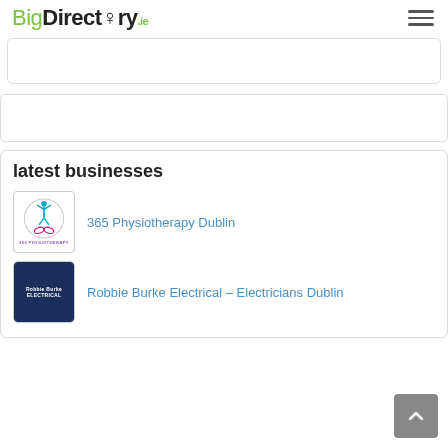BigDirectory.ie
[Figure (other): Empty ad banner box 1]
[Figure (other): Empty ad banner box 2]
latest businesses
365 Physiotherapy Dublin
[Figure (logo): 365 Physiotherapy logo with figure and hands]
Robbie Burke Electrical – Electricians Dublin
[Figure (logo): Robbie Burke Electrical dark blue logo]